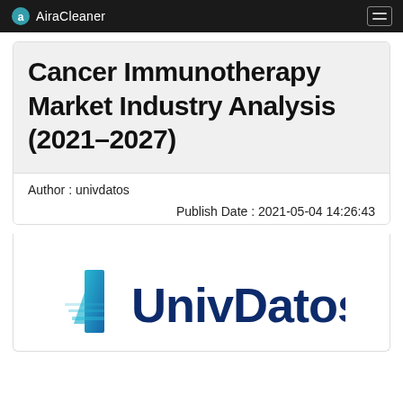AiraCleaner
Cancer Immunotherapy Market Industry Analysis (2021–2027)
Author : univdatos
Publish Date : 2021-05-04 14:26:43
[Figure (logo): UnivDatos logo with stylized 'u' icon in teal/blue gradient and dark blue text 'UnivDatos']